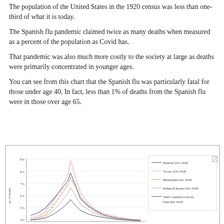The population of the United States in the 1920 census was less than one-third of what it is today.
The Spanish flu pandemic claimed twice as many deaths when measured as a percent of the population as Covid has.
That pandemic was also much more costly to the society at large as deaths were primarily concentrated in younger ages.
You can see from this chart that the Spanish flu was particularly fatal for those under age 40. In fact, less than 1% of deaths from the Spanish flu were in those over age 65.
[Figure (line-chart): Line chart showing percentage of deaths by age group for multiple cities/regions (Montreal Oct 1918, Toronto Oct 1918, Philadelphia Oct 1918, Indiana & Kansas Oct 1918, Other Canadian locations Sept-Dec 1918). Y-axis shows percentage of deaths from 4% to 9%. The chart shows a peak around age 20-40 with values reaching ~8-9%.]